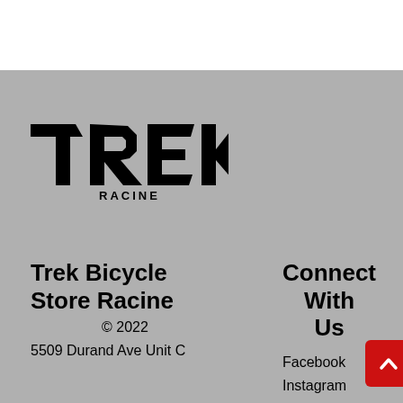[Figure (logo): TREK RACINE logo with large bold italic TREK wordmark and RACINE subtitle in bold spaced caps]
Trek Bicycle Store Racine
© 2022
5509 Durand Ave Unit C
Connect With Us
Facebook
Instagram